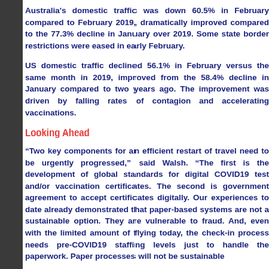Australia's domestic traffic was down 60.5% in February compared to February 2019, dramatically improved compared to the 77.3% decline in January over 2019. Some state border restrictions were eased in early February.
US domestic traffic declined 56.1% in February versus the same month in 2019, improved from the 58.4% decline in January compared to two years ago. The improvement was driven by falling rates of contagion and accelerating vaccinations.
Looking Ahead
“Two key components for an efficient restart of travel need to be urgently progressed,” said Walsh. “The first is the development of global standards for digital COVID19 test and/or vaccination certificates. The second is government agreement to accept certificates digitally. Our experiences to date already demonstrated that paper-based systems are not a sustainable option. They are vulnerable to fraud. And, even with the limited amount of flying today, the check-in process needs pre-COVID19 staffing levels just to handle the paperwork. Paper processes will not be sustainable